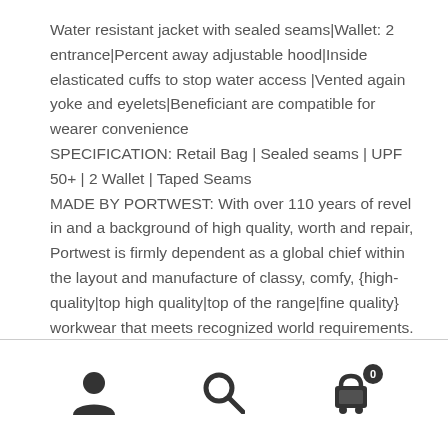Water resistant jacket with sealed seams|Wallet: 2 entrance|Percent away adjustable hood|Inside elasticated cuffs to stop water access |Vented again yoke and eyelets|Beneficiant are compatible for wearer convenience
SPECIFICATION: Retail Bag | Sealed seams | UPF 50+ | 2 Wallet | Taped Seams
MADE BY PORTWEST: With over 110 years of revel in and a background of high quality, worth and repair, Portwest is firmly dependent as a global chief within the layout and manufacture of classy, comfy, {high-quality|top high quality|top of the range|fine quality} workwear that meets recognized world requirements.
[Figure (infographic): Bottom navigation bar with three icons: user/person icon on the left, search/magnifying glass icon in the center, and shopping cart icon with badge showing '0' on the right]